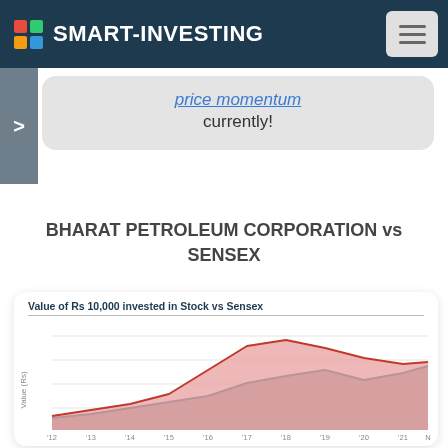SMART-INVESTING
price momentum currently!
BHARAT PETROLEUM CORPORATION vs SENSEX
[Figure (area-chart): Area chart showing value of Rs 10,000 invested in Bharat Petroleum Corporation stock (red area) vs Sensex (dark/grey area) over time from approximately 2012 to present. The stock line peaks around 2017 then declines, while Sensex shows steady growth.]